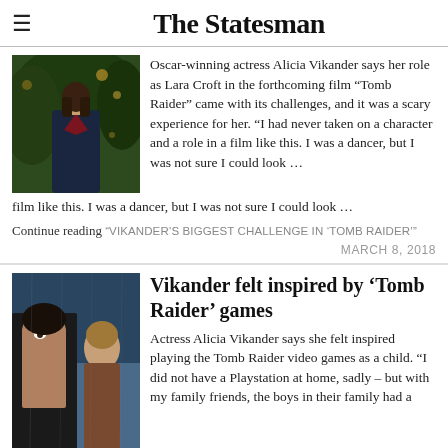The Statesman
[Figure (photo): Photo of Alicia Vikander in dark clothing with green foliage background]
Oscar-winning actress Alicia Vikander says her role as Lara Croft in the forthcoming film “Tomb Raider” came with its challenges, and it was a scary experience for her. “I had never taken on a character and a role in a film like this. I was a dancer, but I was not sure I could look …
Continue reading “VIKANDER’S BIGGEST CHALLENGE IN ‘TOMB RAIDER’”
MARCH 8, 2018
[Figure (photo): Photo of Alicia Vikander as Lara Croft from Tomb Raider, action scene with blue tones]
Vikander felt inspired by ‘Tomb Raider’ games
Actress Alicia Vikander says she felt inspired playing the Tomb Raider video games as a child. “I did not have a Playstation at home, sadly – but with my family friends, the boys in their family had a Playstation. “I was probably I think around ten-ish when I came there. I remember I looked at the …